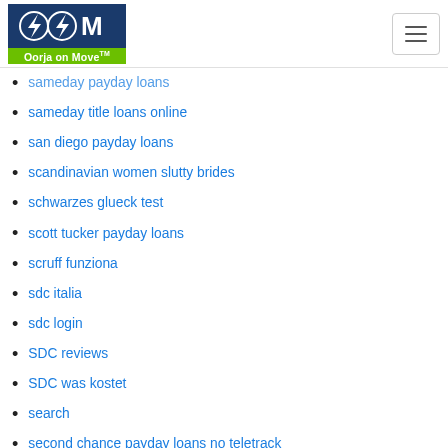[Figure (logo): Oorja on Move logo — dark blue background with two lightning bolt icons and letter M, green bar below with 'Oorja on Move TM' text]
sameday payday loans (partial, cut off at top)
sameday title loans online
san diego payday loans
scandinavian women slutty brides
schwarzes glueck test
scott tucker payday loans
scruff funziona
sdc italia
sdc login
SDC reviews
SDC was kostet
search
second chance payday loans no teletrack
secret benefits app
secret benefits bewertung
secret benefits hookup hotshot